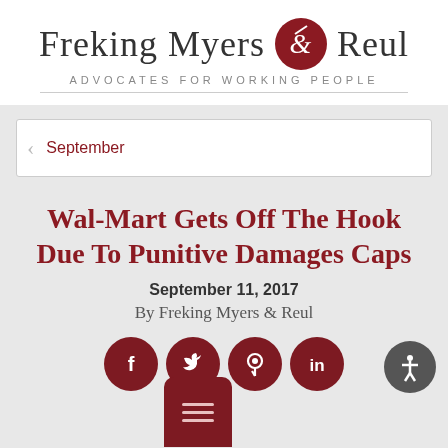[Figure (logo): Freking Myers & Reul law firm logo with red ampersand icon and tagline ADVOCATES FOR WORKING PEOPLE]
September
Wal-Mart Gets Off The Hook Due To Punitive Damages Caps
September 11, 2017
By Freking Myers & Reul
[Figure (infographic): Social media share buttons: Facebook, Twitter, Pinterest, LinkedIn, and a share/menu button and accessibility button]